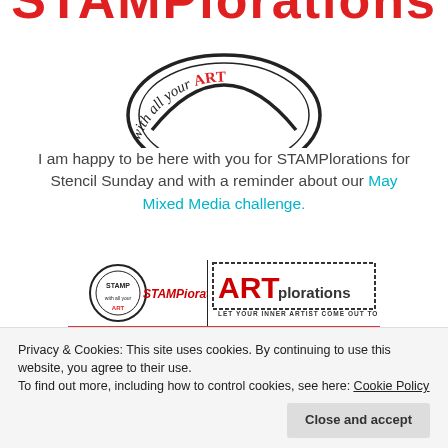[Figure (logo): STAMPlorations logo: red distressed text at top, circular stamp with 'with all your ART' curved text in black and red]
I am happy to be here with you for STAMPlorations for Stencil Sunday and with a reminder about our May Mixed Media challenge.
[Figure (illustration): Banner image showing STAMPlorations logo on left and ARTplorations logo on right with text 'LET YOUR INNER ARTIST COME OUT TO PLAY', red distressed background below]
Privacy & Cookies: This site uses cookies. By continuing to use this website, you agree to their use.
To find out more, including how to control cookies, see here: Cookie Policy
Close and accept